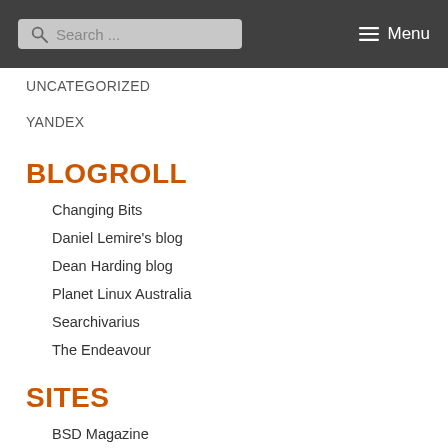Search ... Menu
UNCATEGORIZED
YANDEX
BLOGROLL
Changing Bits
Daniel Lemire's blog
Dean Harding blog
Planet Linux Australia
Searchivarius
The Endeavour
SITES
BSD Magazine